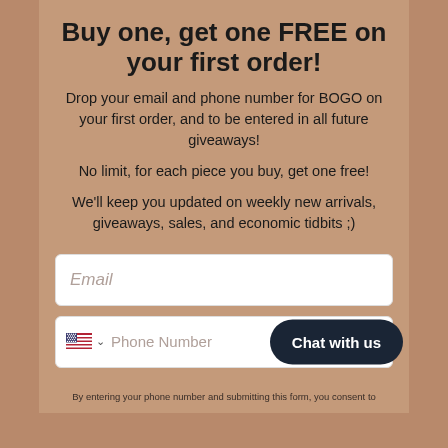Buy one, get one FREE on your first order!
Drop your email and phone number for BOGO on your first order, and to be entered in all future giveaways!
No limit, for each piece you buy, get one free!
We'll keep you updated on weekly new arrivals, giveaways, sales, and economic tidbits ;)
Email (input field)
Phone Number (input field with flag selector and Chat with us button)
By entering your phone number and submitting this form, you consent to